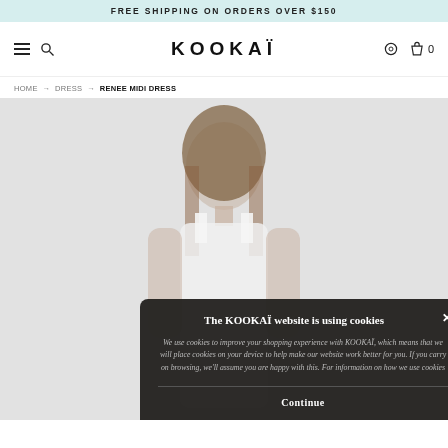FREE SHIPPING ON ORDERS OVER $150
[Figure (logo): KOOKAÏ brand logo and navigation bar with hamburger menu, search icon, wishlist icon, and bag icon with count 0]
HOME → DRESS → RENEE MIDI DRESS
[Figure (photo): Model wearing white Renee Midi Dress against light grey background]
The KOOKAÏ website is using cookies
We use cookies to improve your shopping experience with KOOKAÏ, which means that we will place cookies on your device to help make our website work better for you. If you carry on browsing, we'll assume you are happy with this. For information on how we use cookies
Continue